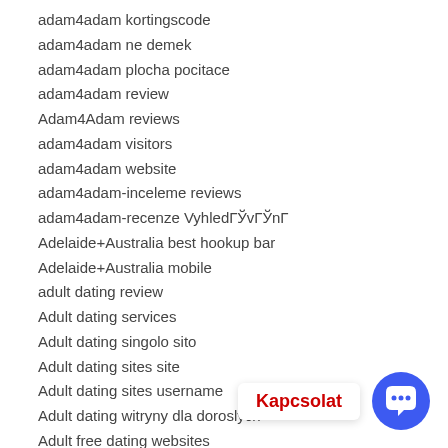adam4adam kortingscode
adam4adam ne demek
adam4adam plocha pocitace
adam4adam review
Adam4Adam reviews
adam4adam visitors
adam4adam website
adam4adam-inceleme reviews
adam4adam-recenze VyhledГЎvГЎnГ
Adelaide+Australia best hookup bar
Adelaide+Australia mobile
adult dating review
Adult dating services
Adult dating singolo sito
Adult dating sites site
Adult dating sites username
Adult dating witryny dla doroslych
Adult free dating websites
Adult Friend Finder kosten
adult friend finder most popular dating apps